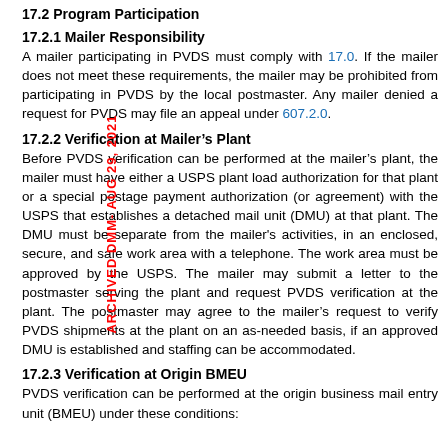17.2 Program Participation
17.2.1 Mailer Responsibility
A mailer participating in PVDS must comply with 17.0. If the mailer does not meet these requirements, the mailer may be prohibited from participating in PVDS by the local postmaster. Any mailer denied a request for PVDS may file an appeal under 607.2.0.
17.2.2 Verification at Mailer’s Plant
Before PVDS verification can be performed at the mailer’s plant, the mailer must have either a USPS plant load authorization for that plant or a special postage payment authorization (or agreement) with the USPS that establishes a detached mail unit (DMU) at that plant. The DMU must be separate from the mailer's activities, in an enclosed, secure, and safe work area with a telephone. The work area must be approved by the USPS. The mailer may submit a letter to the postmaster serving the plant and request PVDS verification at the plant. The postmaster may agree to the mailer’s request to verify PVDS shipments at the plant on an as-needed basis, if an approved DMU is established and staffing can be accommodated.
17.2.3 Verification at Origin BMEU
PVDS verification can be performed at the origin business mail entry unit (BMEU) under these conditions: